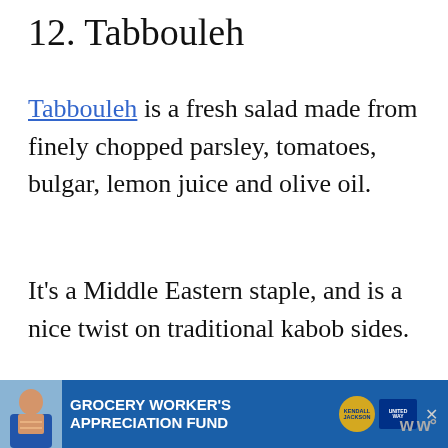12. Tabbouleh
Tabbouleh is a fresh salad made from finely chopped parsley, tomatoes, bulgar, lemon juice and olive oil.
It's a Middle Eastern staple, and is a nice twist on traditional kabob sides.
13. Corn salad
[Figure (infographic): Advertisement banner for Grocery Worker's Appreciation Fund featuring Kendall-Jackson and United Way logos, with a photo of a person on the left side.]